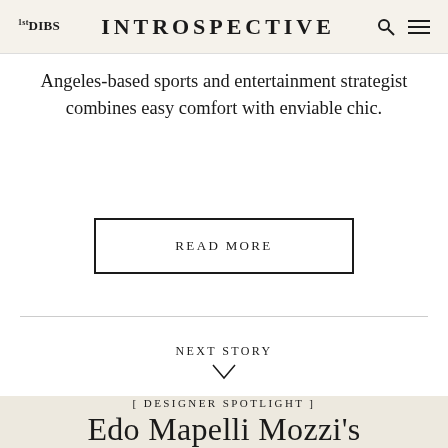1stDIBS   INTROSPECTIVE
Angeles-based sports and entertainment strategist combines easy comfort with enviable chic.
READ MORE
NEXT STORY
[ DESIGNER SPOTLIGHT ]
Edo Mapelli Mozzi's